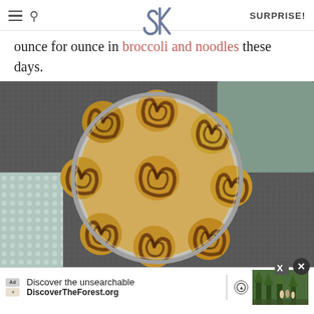SK — SURPRISE!
ounce for ounce in broccoli and noodles these days.
[Figure (photo): Overhead view of cinnamon rolls baked in a round metal pan, arranged in a circular pattern, photographed on a dark granite surface with a patterned cloth nearby.]
[Figure (other): Advertisement bar: 'Discover the unsearchable — DiscoverTheForest.org' with photo of hikers in forest.]